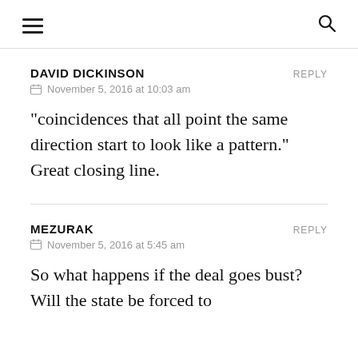≡  🔍
DAVID DICKINSON
REPLY
📅 November 5, 2016 at 10:03 am
"coincidences that all point the same direction start to look like a pattern."
Great closing line.
MEZURAK
REPLY
📅 November 5, 2016 at 5:45 am
So what happens if the deal goes bust? Will the state be forced to